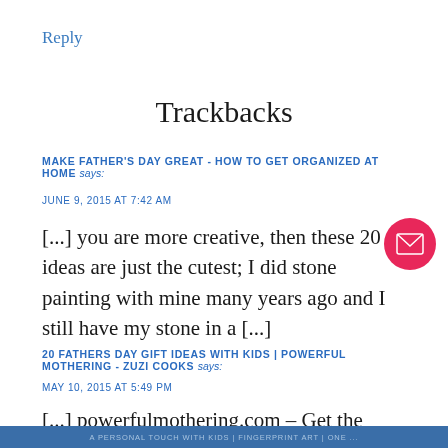Reply
Trackbacks
MAKE FATHER'S DAY GREAT - HOW TO GET ORGANIZED AT HOME says:
JUNE 9, 2015 AT 7:42 AM
[...] you are more creative, then these 20 ideas are just the cutest; I did stone painting with mine many years ago and I still have my stone in a [...]
20 FATHERS DAY GIFT IDEAS WITH KIDS | POWERFUL MOTHERING - ZUZI COOKS says:
MAY 10, 2015 AT 5:49 PM
[...] powerfulmothering.com – Get the recipe [...]
A PERSONAL TOUCH WITH KIDS | FINGERPRINT ART | ONE ...